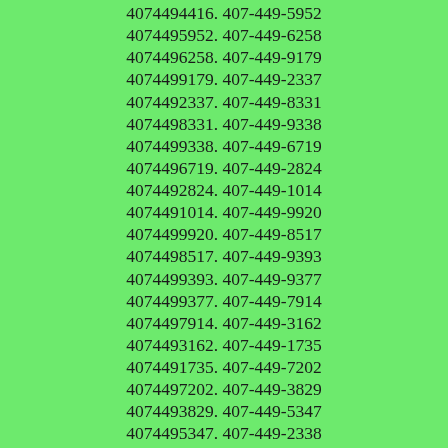4074494416. 407-449-5952
4074495952. 407-449-6258
4074496258. 407-449-9179
4074499179. 407-449-2337
4074492337. 407-449-8331
4074498331. 407-449-9338
4074499338. 407-449-6719
4074496719. 407-449-2824
4074492824. 407-449-1014
4074491014. 407-449-9920
4074499920. 407-449-8517
4074498517. 407-449-9393
4074499393. 407-449-9377
4074499377. 407-449-7914
4074497914. 407-449-3162
4074493162. 407-449-1735
4074491735. 407-449-7202
4074497202. 407-449-3829
4074493829. 407-449-5347
4074495347. 407-449-2338
4074492338. 407-449-4868
4074494868. 407-449-0690 Caller Name Identify My Caller 4074490690. 407-449-5094 4074495094. 407-449-9967
4074499967. 407-449-7306